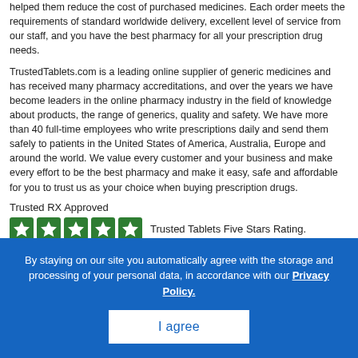helped them reduce the cost of purchased medicines. Each order meets the requirements of standard worldwide delivery, excellent level of service from our staff, and you have the best pharmacy for all your prescription drug needs.
TrustedTablets.com is a leading online supplier of generic medicines and has received many pharmacy accreditations, and over the years we have become leaders in the online pharmacy industry in the field of knowledge about products, the range of generics, quality and safety. We have more than 40 full-time employees who write prescriptions daily and send them safely to patients in the United States of America, Australia, Europe and around the world. We value every customer and your business and make every effort to be the best pharmacy and make it easy, safe and affordable for you to trust us as your choice when buying prescription drugs.
Trusted RX Approved
[Figure (illustration): Five green star icons in a row, followed by text 'Trusted Tablets Five Stars Rating.']
Copyright © 2010-2021. All rights reserved. Trusted Tablets.
TrustedTablets accept
Trusted Tablets 2022. Online Med Store offers competitive pricing and outstanding services to physicians, surgeons, dentists and podiatrist
By staying on our site you automatically agree with the storage and processing of your personal data, in accordance with our Privacy Policy.
I agree